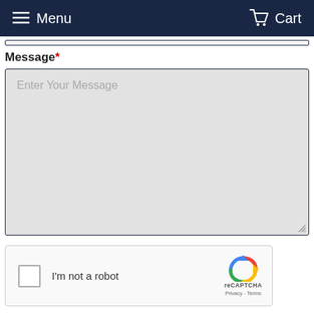Menu   Cart
Message *
[Figure (screenshot): Text area input field with placeholder text 'Enter Your Message', gray background with dark border]
[Figure (screenshot): reCAPTCHA widget with checkbox labeled 'I'm not a robot' and Google reCAPTCHA logo with Privacy and Terms links]
Submit